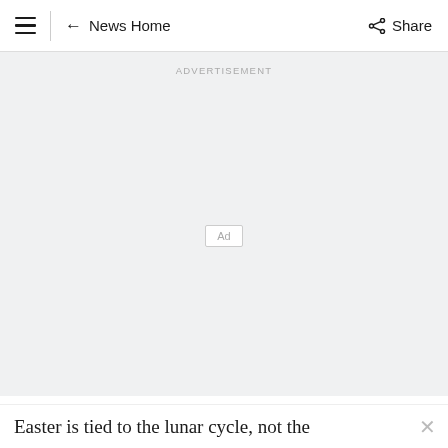≡ ← News Home   Share
[Figure (other): Advertisement placeholder area with 'ADVERTISEMENT' label and 'Ad' box in center]
Easter is tied to the lunar cycle, not the
[Figure (other): Advertisement placeholder box labeled 'Ad']